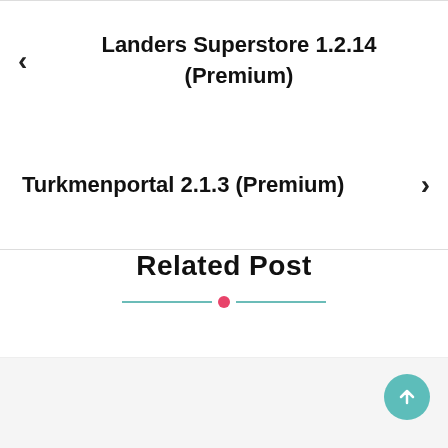< Landers Superstore 1.2.14 (Premium)
Turkmenportal 2.1.3 (Premium) >
Related Post